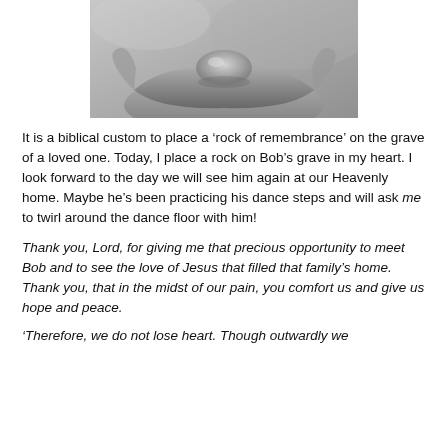[Figure (photo): Black and white photograph of a pair of hands cupped together holding a smooth stone or rock, with a blurred outdoor background.]
It is a biblical custom to place a ‘rock of remembrance’ on the grave of a loved one. Today, I place a rock on Bob’s grave in my heart. I look forward to the day we will see him again at our Heavenly home. Maybe he’s been practicing his dance steps and will ask me to twirl around the dance floor with him!
Thank you, Lord, for giving me that precious opportunity to meet Bob and to see the love of Jesus that filled that family’s home. Thank you, that in the midst of our pain, you comfort us and give us hope and peace.
‘Therefore, we do not lose heart. Though outwardly we